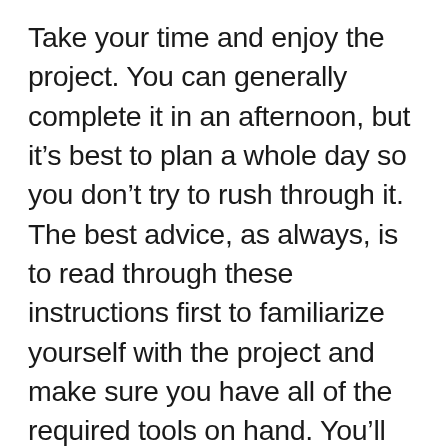Take your time and enjoy the project. You can generally complete it in an afternoon, but it’s best to plan a whole day so you don’t try to rush through it. The best advice, as always, is to read through these instructions first to familiarize yourself with the project and make sure you have all of the required tools on hand. You’ll see that we don’t get too in-depth until we get down to the Vanos unit itself. The